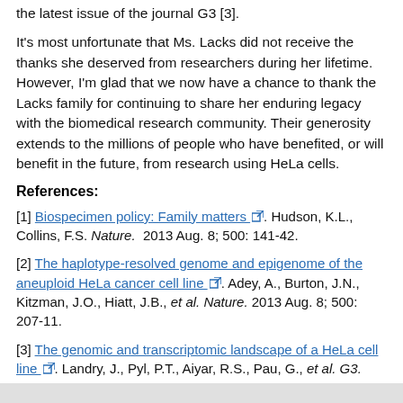the latest issue of the journal G3 [3].
It's most unfortunate that Ms. Lacks did not receive the thanks she deserved from researchers during her lifetime. However, I'm glad that we now have a chance to thank the Lacks family for continuing to share her enduring legacy with the biomedical research community. Their generosity extends to the millions of people who have benefited, or will benefit in the future, from research using HeLa cells.
References:
[1] Biospecimen policy: Family matters. Hudson, K.L., Collins, F.S. Nature. 2013 Aug. 8; 500: 141-42.
[2] The haplotype-resolved genome and epigenome of the aneuploid HeLa cancer cell line. Adey, A., Burton, J.N., Kitzman, J.O., Hiatt, J.B., et al. Nature. 2013 Aug. 8; 500: 207-11.
[3] The genomic and transcriptomic landscape of a HeLa cell line. Landry, J., Pyl, P.T., Aiyar, R.S., Pau, G., et al. G3. 2013 Aug.; 3:1213-24.